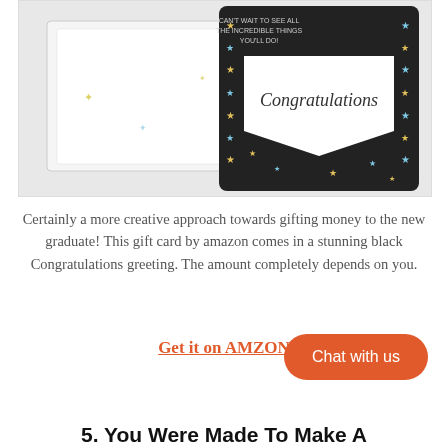[Figure (photo): Photo of an open congratulations greeting card with a black background decorated with colorful stars, showing the inside with 'Congratulations' text in script, and an envelope beside it.]
Certainly a more creative approach towards gifting money to the new graduate! This gift card by amazon comes in a stunning black Congratulations greeting. The amount completely depends on you.
Get it on AMZON
Chat with us
5. You Were Made To Make A